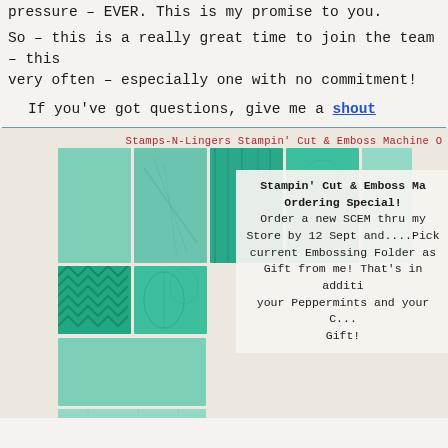pressure – EVER. This is my promise to you.
So – this is a really great time to join the team – this very often – especially one with no commitment!
If you've got questions, give me a shout
[Figure (photo): Grid of teal/mint colored embossed cardstock swatches showing various textures from the Stampin' Cut & Emboss Machine, with multiple rows of rectangular color/texture samples]
Stamps-N-Lingers Stampin' Cut & Emboss Machine O
Stampin' Cut & Emboss Ma... Ordering Special! Order a new SCEM thru my Store by 12 Sept and....Pick current Embossing Folder as a Gift from me! That's in addition to your Peppermints and your C... Gift!